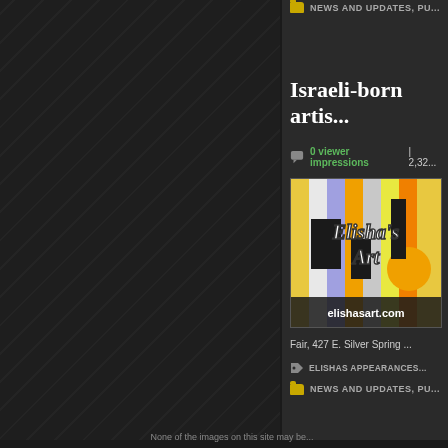[Figure (illustration): Dark diagonal stripe pattern background on left panel]
NEWS AND UPDATES, PU...
Israeli-born artis...
0 viewer impressions | 2,32...
[Figure (illustration): Elisha's Art artwork image with colorful abstract geometric shapes and text 'Elisha's Art elishasart.com']
Fair, 427 E. Silver Spring ...
ELISHAS APPEARANCES
NEWS AND UPDATES, PU...
None of the images on this site may be...